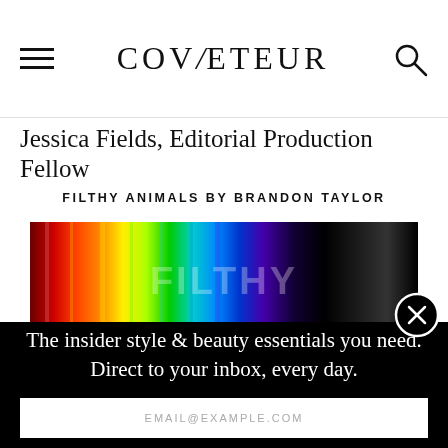COVETEUR
Jessica Fields, Editorial Production Fellow
FILTHY ANIMALS BY BRANDON TAYLOR
[Figure (photo): Colorful spectrum/rainbow striped book cover with white text overlay, dark background]
The insider style & beauty essentials you need. Direct to your inbox, every day.
EMAIL@EXAMPLE.COM
SIGN UP